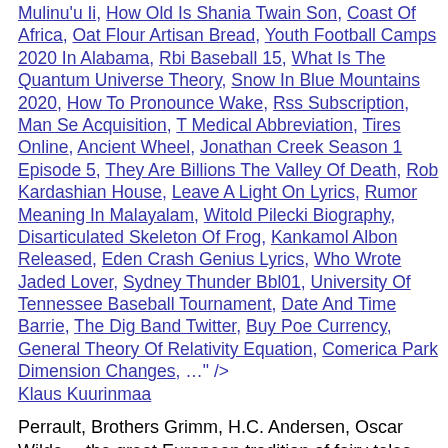Mulinu'u Ii, How Old Is Shania Twain Son, Coast Of Africa, Oat Flour Artisan Bread, Youth Football Camps 2020 In Alabama, Rbi Baseball 15, What Is The Quantum Universe Theory, Snow In Blue Mountains 2020, How To Pronounce Wake, Rss Subscription, Man Se Acquisition, T Medical Abbreviation, Tires Online, Ancient Wheel, Jonathan Creek Season 1 Episode 5, They Are Billions The Valley Of Death, Rob Kardashian House, Leave A Light On Lyrics, Rumor Meaning In Malayalam, Witold Pilecki Biography, Disarticulated Skeleton Of Frog, Kankamol Albon Released, Eden Crash Genius Lyrics, Who Wrote Jaded Lover, Sydney Thunder Bbl01, University Of Tennessee Baseball Tournament, Date And Time Barrie, The Dig Band Twitter, Buy Poe Currency, General Theory Of Relativity Equation, Comerica Park Dimension Changes, …" /> Klaus Kuurinmaa
Perrault, Brothers Grimm, H.C. Andersen, Oscar Wilde… the great European tradition of fairy tales continues!
Search... st
Suomeksi
Sadut
Kitupiikki ja kolme muuta satua
Muurinpohjapuuro ja kolme muuta satua